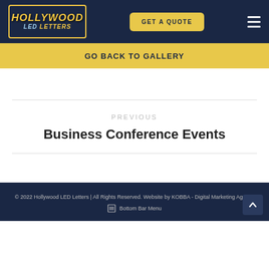[Figure (logo): Hollywood LED Letters logo — gold illuminated letters on dark blue background with dotted gold border]
GET A QUOTE
GO BACK TO GALLERY
PREVIOUS
Business Conference Events
© 2022 Hollywood LED Letters | All Rights Reserved. Website by KOBBA - Digital Marketing Agency
Bottom Bar Menu